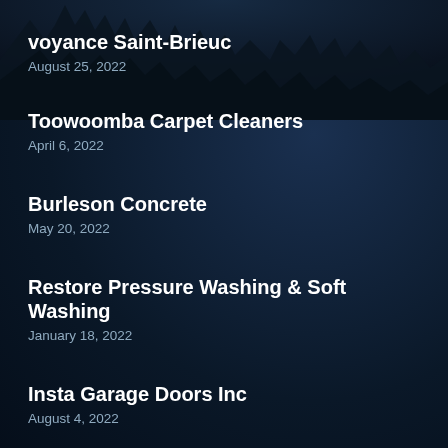voyance Saint-Brieuc
August 25, 2022
Toowoomba Carpet Cleaners
April 6, 2022
Burleson Concrete
May 20, 2022
Restore Pressure Washing & Soft Washing
January 18, 2022
Insta Garage Doors Inc
August 4, 2022
Top Line Roofing Contractors